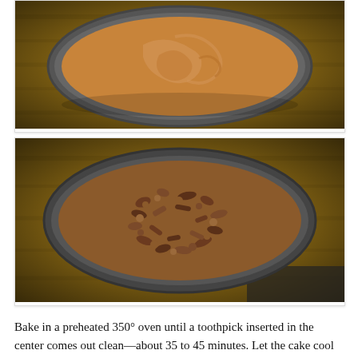[Figure (photo): Top-down photo of a round cake pan on a wooden surface, filled with smooth peanut butter or caramel-colored batter swirled on top.]
[Figure (photo): Top-down photo of the same round cake pan on a wooden surface, now topped with a crumble/streusel topping mixed with chopped pecans.]
Bake in a preheated 350° oven until a toothpick inserted in the center comes out clean—about 35 to 45 minutes. Let the cake cool in the pan for 10 to 15 minutes. Loosen the sides of the cake by running a thin knife around the edge of the pan. Turn the cake out of the pan. Cool the cake, streusel side up, on a wire rack.